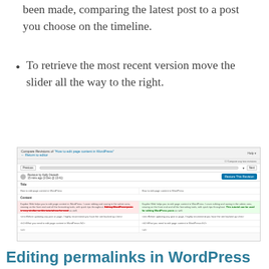been made, comparing the latest post to a post you choose on the timeline.
To retrieve the most recent version move the slider all the way to the right.
[Figure (screenshot): WordPress Compare Revisions screen showing two-column diff of page content, with deleted text highlighted in red on the left and added text highlighted in green on the right. Interface shows Previous/Next buttons, a timeline slider, revision info, and a Restore This Revision button.]
Editing permalinks in WordPress